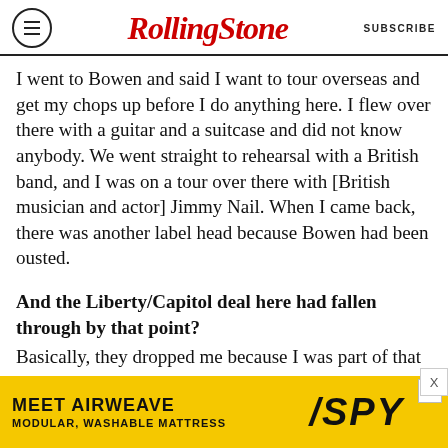Rolling Stone  SUBSCRIBE
I went to Bowen and said I want to tour overseas and get my chops up before I do anything here. I flew over there with a guitar and a suitcase and did not know anybody. We went straight to rehearsal with a British band, and I was on a tour over there with [British musician and actor] Jimmy Nail. When I came back, there was another label head because Bowen had been ousted.
And the Liberty/Capitol deal here had fallen through by that point?
Basically, they dropped me because I was part of that old regime. So I called up the people in London and said, “I’m moving to London!”
[Figure (other): Advertisement banner for Airweave mattress: MEET AIRWEAVE / MODULAR, WASHABLE MATTRESS on yellow background with SPY logo]